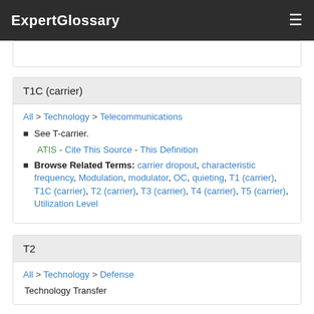ExpertGlossary
T1C (carrier)
All > Technology > Telecommunications
See T-carrier.
ATIS - Cite This Source - This Definition
Browse Related Terms: carrier dropout, characteristic frequency, Modulation, modulator, OC, quieting, T1 (carrier), T1C (carrier), T2 (carrier), T3 (carrier), T4 (carrier), T5 (carrier), Utilization Level
T2
All > Technology > Defense
Technology Transfer